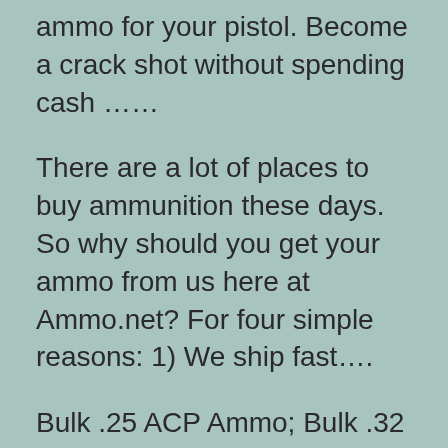ammo for your pistol. Become a crack shot without spending cash ……
There are a lot of places to buy ammunition these days. So why should you get your ammo from us here at Ammo.net? For four simple reasons: 1) We ship fast….
Bulk .25 ACP Ammo; Bulk .32 ACP Ammo; Bulk .357 Mag Ammo; Bulk .357 SIG Ammo; Bulk .38 Spl Ammo; Bulk .380 ACP Ammo; Bulk .40 S&W Ammo; Bulk .44 Mag Ammo…….
40 S&W: Smith and Wesson and Winchester partnered to develop 40 Smith and Wesson